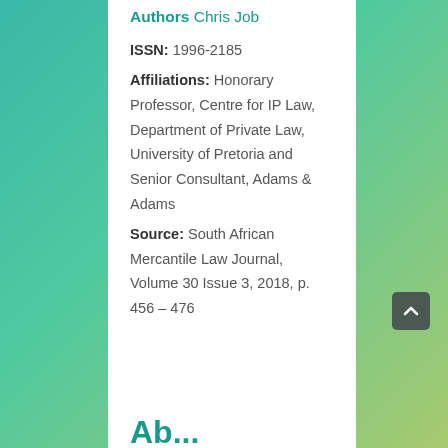Authors Chris Job
ISSN: 1996-2185
Affiliations: Honorary Professor, Centre for IP Law, Department of Private Law, University of Pretoria and Senior Consultant, Adams & Adams
Source: South African Mercantile Law Journal, Volume 30 Issue 3, 2018, p. 456 – 476
Abstract